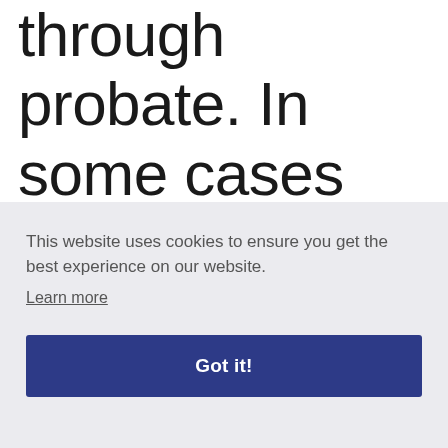through probate. In some cases the value of the deceased's assets is low. The
This website uses cookies to ensure you get the best experience on our website.
Learn more
Got it!